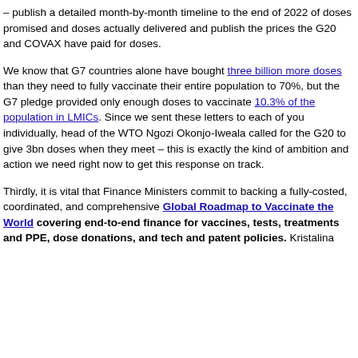– publish a detailed month-by-month timeline to the end of 2022 of doses promised and doses actually delivered and publish the prices the G20 and COVAX have paid for doses.
We know that G7 countries alone have bought three billion more doses than they need to fully vaccinate their entire population to 70%, but the G7 pledge provided only enough doses to vaccinate 10.3% of the population in LMICs. Since we sent these letters to each of you individually, head of the WTO Ngozi Okonjo-Iweala called for the G20 to give 3bn doses when they meet – this is exactly the kind of ambition and action we need right now to get this response on track.
Thirdly, it is vital that Finance Ministers commit to backing a fully-costed, coordinated, and comprehensive Global Roadmap to Vaccinate the World covering end-to-end finance for vaccines, tests, treatments and PPE, dose donations, and tech and patent policies. Kristalina